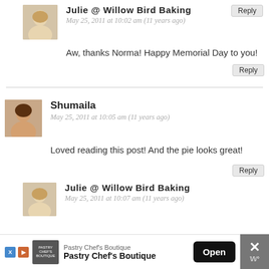[Figure (photo): Avatar photo of Julie, a woman with blonde hair]
Julie @ Willow Bird Baking
May 25, 2011 at 10:02 am (11 years ago)
Aw, thanks Norma! Happy Memorial Day to you!
Reply
Shumaila
[Figure (photo): Avatar photo of Shumaila, a woman with dark hair]
May 25, 2011 at 10:05 am (11 years ago)
Loved reading this post! And the pie looks great!
Reply
[Figure (photo): Avatar photo of Julie, a woman with blonde hair]
Julie @ Willow Bird Baking
May 25, 2011 at 10:07 am (11 years ago)
Pastry Chef's Boutique
Pastry Chef's Boutique
Open